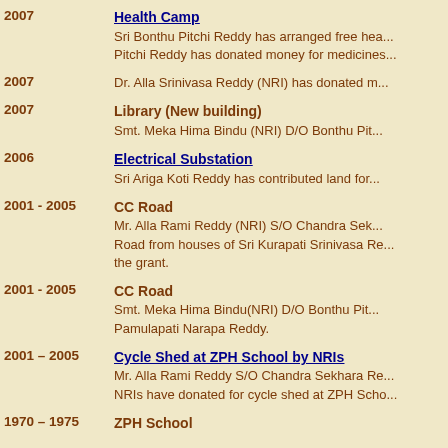2007 | Health Camp
Sri Bonthu Pitchi Reddy has arranged free hea... Pitchi Reddy has donated money for medicines...
2007 | Dr. Alla Srinivasa Reddy (NRI) has donated m...
2007 | Library (New building)
Smt. Meka Hima Bindu (NRI) D/O Bonthu Pit...
2006 | Electrical Substation
Sri Ariga Koti Reddy has contributed land for...
2001 - 2005 | CC Road
Mr. Alla Rami Reddy (NRI) S/O Chandra Sek... Road from houses of Sri Kurapati Srinivasa Re... the grant.
2001 - 2005 | CC Road
Smt. Meka Hima Bindu(NRI) D/O Bonthu Pit... Pamulapati Narapa Reddy.
2001 – 2005 | Cycle Shed at ZPH School by NRIs
Mr. Alla Rami Reddy S/O Chandra Sekhara Re... NRIs have donated for cycle shed at ZPH Scho...
1970 – 1975 | ZPH School